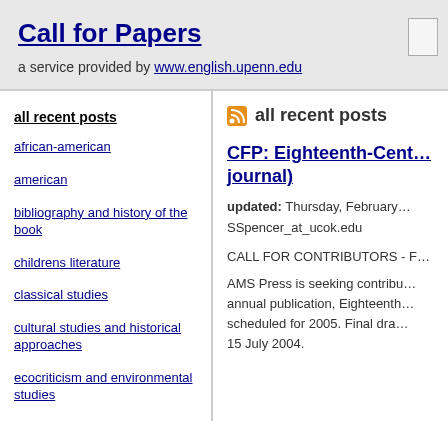Call for Papers
a service provided by www.english.upenn.edu
all recent posts
african-american
american
bibliography and history of the book
childrens literature
classical studies
cultural studies and historical approaches
ecocriticism and environmental studies
eighteenth century
all recent posts
CFP: Eighteenth-Cent… journal)
updated: Thursday, February…
SSpencer_at_ucok.edu
CALL FOR CONTRIBUTORS - F…
AMS Press is seeking contribu… annual publication, Eighteenth… scheduled for 2005. Final dra… 15 July 2004.